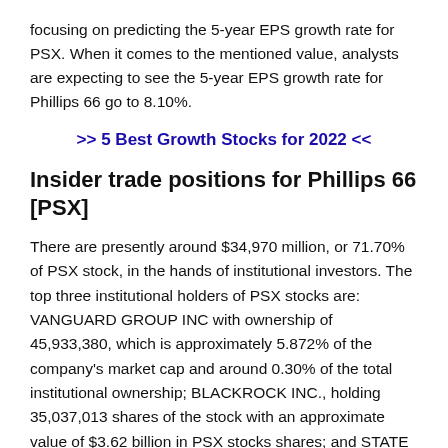focusing on predicting the 5-year EPS growth rate for PSX. When it comes to the mentioned value, analysts are expecting to see the 5-year EPS growth rate for Phillips 66 go to 8.10%.
>> 5 Best Growth Stocks for 2022 <<
Insider trade positions for Phillips 66 [PSX]
There are presently around $34,970 million, or 71.70% of PSX stock, in the hands of institutional investors. The top three institutional holders of PSX stocks are: VANGUARD GROUP INC with ownership of 45,933,380, which is approximately 5.872% of the company's market cap and around 0.30% of the total institutional ownership; BLACKROCK INC., holding 35,037,013 shares of the stock with an approximate value of $3.62 billion in PSX stocks shares; and STATE STREET CORP,